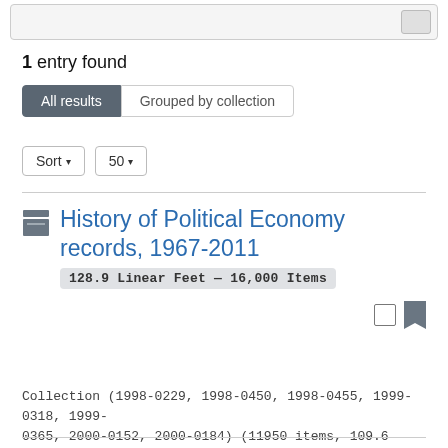1 entry found
All results | Grouped by collection
Sort ▾  50 ▾
History of Political Economy records, 1967-2011  128.9 Linear Feet — 16,000 Items
Collection (1998-0229, 1998-0450, 1998-0455, 1999-0318, 1999-0365, 2000-0152, 2000-0184) (11950 items, 109.6 lin. ft.; dated 1967-1999) contains the files of published and unpublished
show more